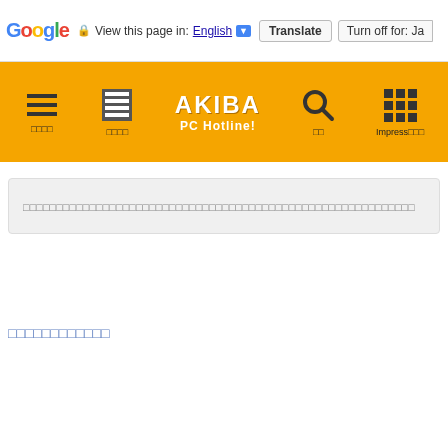Google  View this page in: English ▼  Translate  Turn off for: Ja
[Figure (screenshot): AKIBA PC Hotline! orange navigation bar with icons for menu, news/list, site logo, search, and Impress grid]
□□□□□□□□□□□□□□□□□□□□□□□□□□□□□□□□□□□□□□□□□□□□□□□□□□□□□
□□□□□□□□□□□□